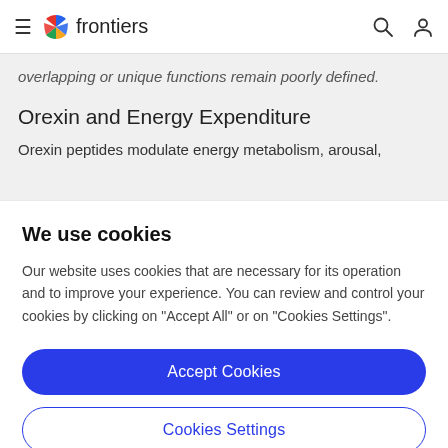frontiers
overlapping or unique functions remain poorly defined.
Orexin and Energy Expenditure
Orexin peptides modulate energy metabolism, arousal,
We use cookies
Our website uses cookies that are necessary for its operation and to improve your experience. You can review and control your cookies by clicking on "Accept All" or on "Cookies Settings".
Accept Cookies
Cookies Settings